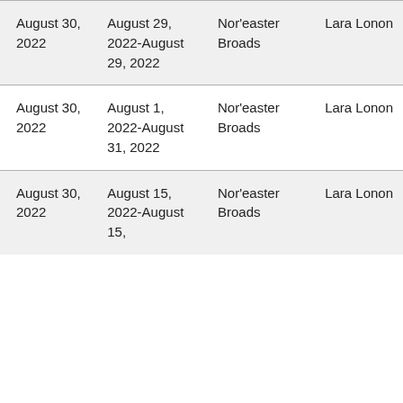| August 30, 2022 | August 29, 2022-August 29, 2022 | Nor'easter Broads | Lara Lonon |
| August 30, 2022 | August 1, 2022-August 31, 2022 | Nor'easter Broads | Lara Lonon |
| August 30, 2022 | August 15, 2022-August 15, … | Nor'easter Broads | Lara Lonon |